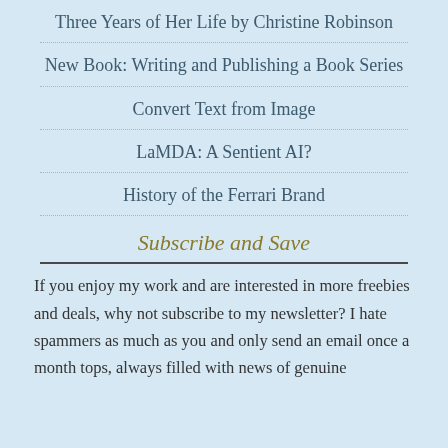Three Years of Her Life by Christine Robinson
New Book: Writing and Publishing a Book Series
Convert Text from Image
LaMDA: A Sentient AI?
History of the Ferrari Brand
Subscribe and Save
If you enjoy my work and are interested in more freebies and deals, why not subscribe to my newsletter? I hate spammers as much as you and only send an email once a month tops, always filled with news of genuine